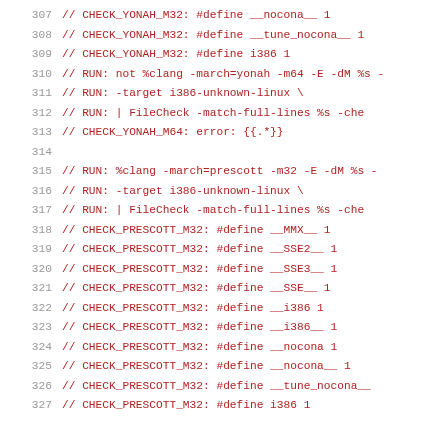307  // CHECK_YONAH_M32: #define __nocona__ 1
308  // CHECK_YONAH_M32: #define __tune_nocona__ 1
309  // CHECK_YONAH_M32: #define i386 1
310  // RUN: not %clang -march=yonah -m64 -E -dM %s -
311  // RUN:     -target i386-unknown-linux \
312  // RUN:     | FileCheck -match-full-lines %s -che
313  // CHECK_YONAH_M64: error: {{.*}}
314
315  // RUN: %clang -march=prescott -m32 -E -dM %s -
316  // RUN:     -target i386-unknown-linux \
317  // RUN:     | FileCheck -match-full-lines %s -che
318  // CHECK_PRESCOTT_M32: #define __MMX__ 1
319  // CHECK_PRESCOTT_M32: #define __SSE2__ 1
320  // CHECK_PRESCOTT_M32: #define __SSE3__ 1
321  // CHECK_PRESCOTT_M32: #define __SSE__ 1
322  // CHECK_PRESCOTT_M32: #define __i386 1
323  // CHECK_PRESCOTT_M32: #define __i386__ 1
324  // CHECK_PRESCOTT_M32: #define __nocona 1
325  // CHECK_PRESCOTT_M32: #define __nocona__ 1
326  // CHECK_PRESCOTT_M32: #define __tune_nocona__
327  // CHECK_PRESCOTT_M32: #define i386 1